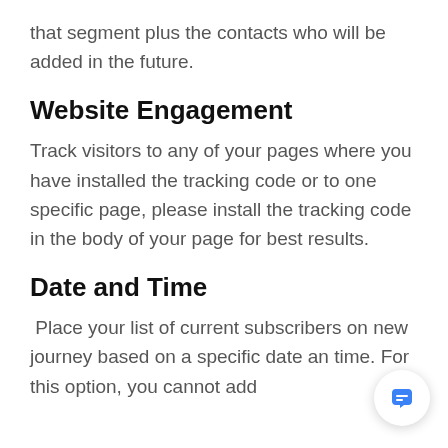that segment plus the contacts who will be added in the future.
Website Engagement
Track visitors to any of your pages where you have installed the tracking code or to one specific page, please install the tracking code in the body of your page for best results.
Date and Time
Place your list of current subscribers on new journey based on a specific date an time. For this option, you cannot add